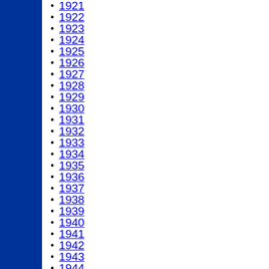1921
1922
1923
1924
1925
1926
1927
1928
1929
1930
1931
1932
1933
1934
1935
1936
1937
1938
1939
1940
1941
1942
1943
1944
1945